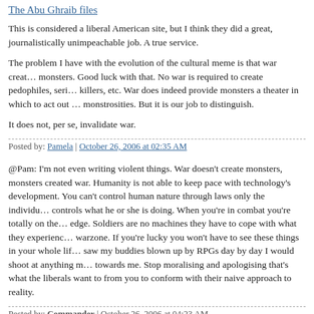The Abu Ghraib files
This is considered a liberal American site, but I think they did a great, journalistically unimpeachable job. A true service.
The problem I have with the evolution of the cultural meme is that war creates monsters. Good luck with that. No war is required to create pedophiles, serial killers, etc. War does indeed provide monsters a theater in which to act out their monstrosities. But it is our job to distinguish.
It does not, per se, invalidate war.
Posted by: Pamela | October 26, 2006 at 02:35 AM
@Pam: I'm not even writing violent things. War doesn't create monsters, monsters created war. Humanity is not able to keep pace with technology's development. You can't control human nature through laws only the individual controls what he or she is doing. When you're in combat you're totally on the edge. Soldiers are no machines they have to cope with what they experience in a warzone. If you're lucky you won't have to see these things in your whole life. I saw my buddies blown up by RPGs day by day I would shoot at anything moving towards me. Stop moralising and apologising that's what the liberals want to get from you to conform with their naive approach to reality.
Posted by: Commander | October 26, 2006 at 04:23 AM